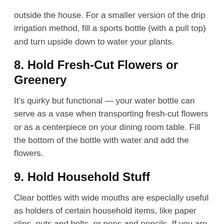outside the house. For a smaller version of the drip irrigation method, fill a sports bottle (with a pull top) and turn upside down to water your plants.
8. Hold Fresh-Cut Flowers or Greenery
It's quirky but functional — your water bottle can serve as a vase when transporting fresh-cut flowers or as a centerpiece on your dining room table. Fill the bottom of the bottle with water and add the flowers.
9. Hold Household Stuff
Clear bottles with wide mouths are especially useful as holders of certain household items, like paper clips, nuts and bolts, or pens and pencils. If you are fond of a commemorative water bottle, then repurposing will let you